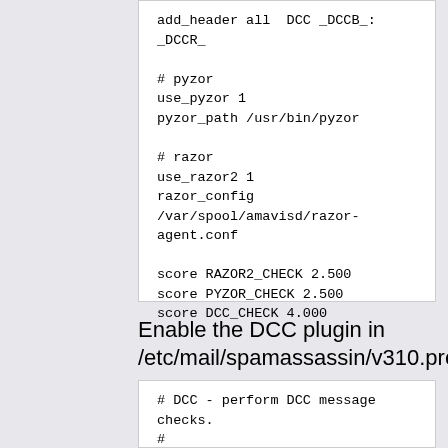add_header all  DCC _DCCB_:
_DCCR_

# pyzor
use_pyzor 1
pyzor_path /usr/bin/pyzor

# razor
use_razor2 1
razor_config
/var/spool/amavisd/razor-agent.conf

score RAZOR2_CHECK 2.500
score PYZOR_CHECK 2.500
score DCC_CHECK 4.000
Enable the DCC plugin in /etc/mail/spamassassin/v310.pre
# DCC - perform DCC message checks.
#
# DCC is disabled here because it is